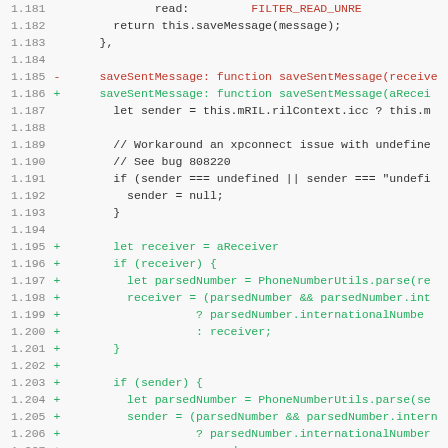[Figure (screenshot): Code diff screenshot showing JavaScript source code with line numbers 1.181 through 1.212, displaying additions (green) and deletions (red) to a saveSentMessage function including receiver/sender parsing logic and message object construction.]